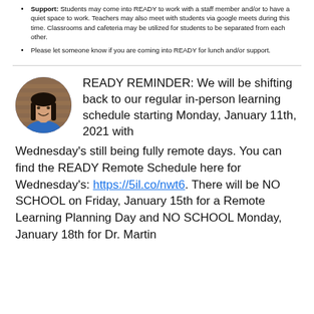Support: Students may come into READY to work with a staff member and/or to have a quiet space to work. Teachers may also meet with students via google meets during this time. Classrooms and cafeteria may be utilized for students to be separated from each other.
Please let someone know if you are coming into READY for lunch and/or support.
READY REMINDER: We will be shifting back to our regular in-person learning schedule starting Monday, January 11th, 2021 with Wednesday's still being fully remote days. You can find the READY Remote Schedule here for Wednesday's: https://5il.co/nwt6. There will be NO SCHOOL on Friday, January 15th for a Remote Learning Planning Day and NO SCHOOL Monday, January 18th for Dr. Martin
[Figure (photo): Circular portrait photo of a woman with long dark hair wearing a blue shirt, smiling, with a brick wall background.]